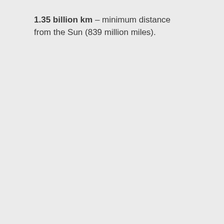1.35 billion km – minimum distance from the Sun (839 million miles).